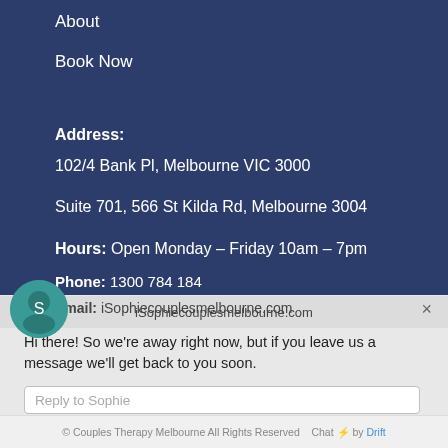About
Book Now
Address:
102/4 Bank Pl, Melbourne VIC 3000
Suite 701, 566 St Kilda Rd, Melbourne 3004
Hours: Open Monday – Friday 10am – 7pm
Phone: 1300 784 184
Email: iSophiecouplesmelbourne.com
Hi there! So we're away right now, but if you leave us a message we'll get back to you soon.
Reply to Sophie
© Couples Therapy Melbourne All Rights Reserved  Chat ⚡ by Drift